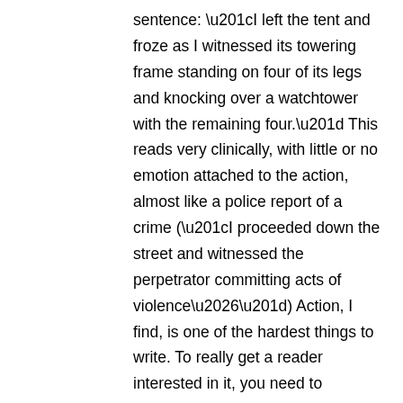sentence: “I left the tent and froze as I witnessed its towering frame standing on four of its legs and knocking over a watchtower with the remaining four.” This reads very clinically, with little or no emotion attached to the action, almost like a police report of a crime (“I proceeded down the street and witnessed the perpetrator committing acts of violence…”) Action, I find, is one of the hardest things to write. To really get a reader interested in it, you need to